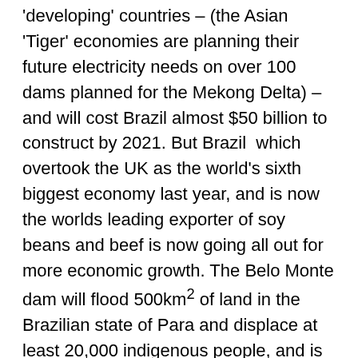'developing' countries – (the Asian 'Tiger' economies are planning their future electricity needs on over 100 dams planned for the Mekong Delta) – and will cost Brazil almost $50 billion to construct by 2021. But Brazil which overtook the UK as the world's sixth biggest economy last year, and is now the worlds leading exporter of soy beans and beef is now going all out for more economic growth. The Belo Monte dam will flood 500km² of land in the Brazilian state of Para and displace at least 20,000 indigenous people, and is billed as a silver bullet to Brazil's blackouts and as a means to bring power to people across the country, but a conservative estimate earmarks 40% of Belo Monte's capacity for the mining industry.
President Lula da Silva began the dam process with Rousseff as his environment minister, since she became